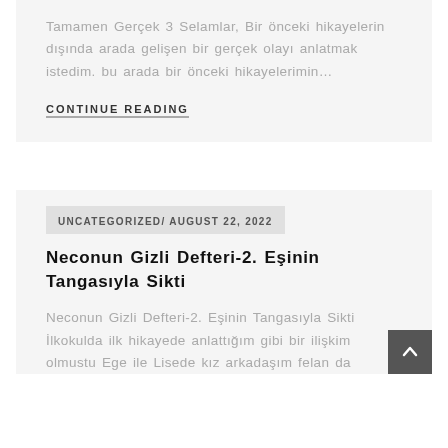Tamamen Gerçek 3 Selamlar, Bir önceki hikayelerin dışında arada gelişen bir gerçek olayı anlatmak istedim. bu arada bir önceki hikayelerimin…
CONTINUE READING
UNCATEGORIZED/ AUGUST 22, 2022
Neconun Gizli Defteri-2. Eşinin Tangasıyla Sikti
Neconun Gizli Defteri-2. Eşinin Tangasıyla Sikti İlkokulda ilk hikayede anlattığım gibi bir ilişkim olmustu Ege ile Lisede kız arkadaşım felan da